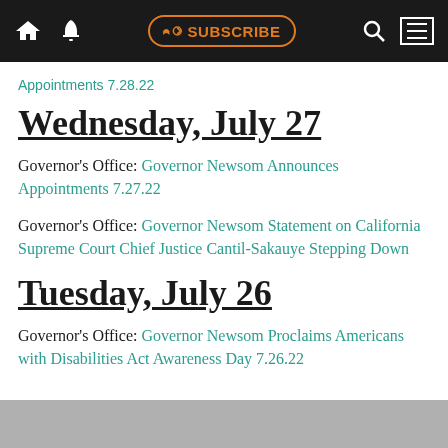Navigation bar with home, bell, SUBSCRIBE, search, and menu icons
Appointments 7.28.22
Wednesday, July 27
Governor's Office: Governor Newsom Announces Appointments 7.27.22
Governor's Office: Governor Newsom Statement on California Supreme Court Chief Justice Cantil-Sakauye Stepping Down
Tuesday, July 26
Governor's Office: Governor Newsom Proclaims Americans with Disabilities Act Awareness Day 7.26.22